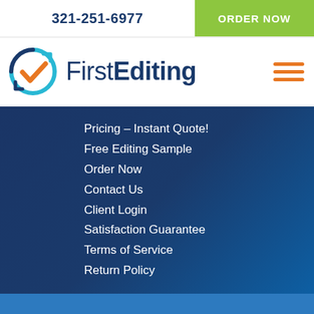321-251-6977
ORDER NOW
[Figure (logo): FirstEditing logo with blue circular checkmark icon and text 'FirstEditing']
Pricing – Instant Quote!
Free Editing Sample
Order Now
Contact Us
Client Login
Satisfaction Guarantee
Terms of Service
Return Policy
Be safe during Corona! We are open 24/7 to help whenever you need. By continuing to use our site you agree to our terms.